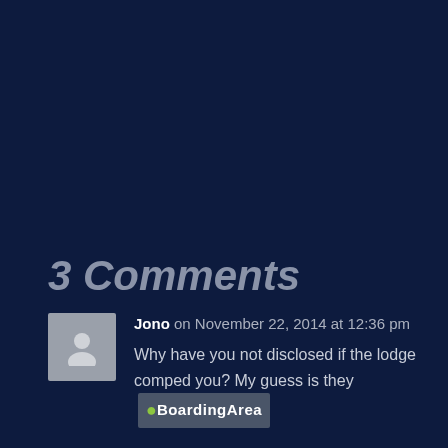3 Comments
Jono on November 22, 2014 at 12:36 pm
Why have you not disclosed if the lodge comped you? My guess is they